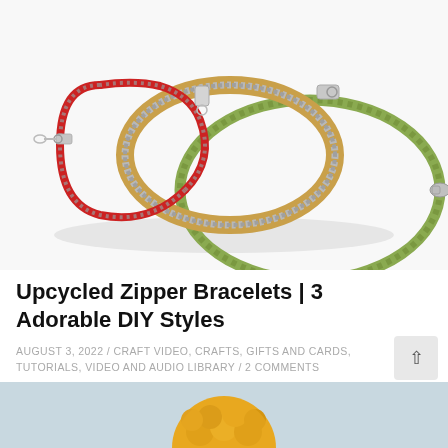[Figure (photo): Three upcycled zipper bracelets arranged on a white background: a red zipper bracelet on the left, a tan/golden leather-backed wide zipper bracelet in the center, and a green zipper bracelet on the right, each with silver lobster clasp closures.]
Upcycled Zipper Bracelets | 3 Adorable DIY Styles
AUGUST 3, 2022 / CRAFT VIDEO, CRAFTS, GIFTS AND CARDS, TUTORIALS, VIDEO AND AUDIO LIBRARY / 2 COMMENTS
[Figure (photo): Partial view of a yellow/mustard pom-pom craft item against a light blue/grey background, cropped at the bottom of the page.]